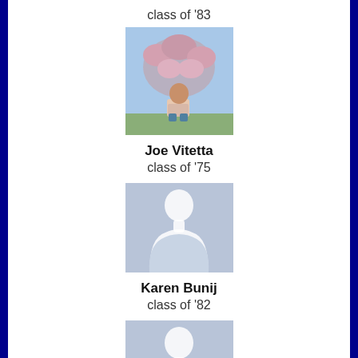class of '83
[Figure (photo): Photo of Joe Vitetta sitting outdoors in front of a blooming tree]
Joe Vitetta
class of '75
[Figure (illustration): Default silhouette placeholder image for Karen Bunij]
Karen Bunij
class of '82
[Figure (illustration): Default silhouette placeholder image for James Stoner]
James Stoner
class of '97